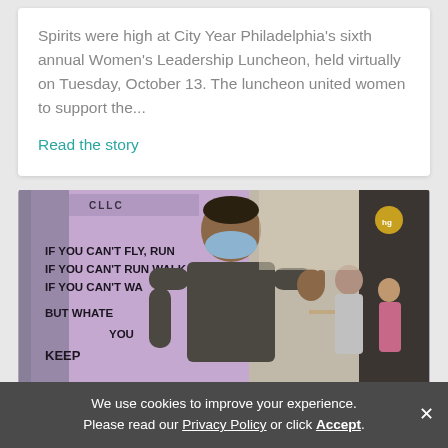Spirits were high at City Year Philadelphia's sixth annual Women's Leadership Luncheon, held virtually on Tuesday, October 13. The luncheon united women to support the...
Read the story
[Figure (photo): A man wearing a blue face mask and grey t-shirt giving a thumbs up in front of a purple sign reading 'IF YOU CAN'T FLY, RUN IF YOU CAN'T RUN WALK IF YOU CAN'T WA... BUT WHATE YOU KEEP' (MLK quote). Urban street scene with other people and buildings in background.]
We use cookies to improve your experience. Please read our Privacy Policy or click Accept.